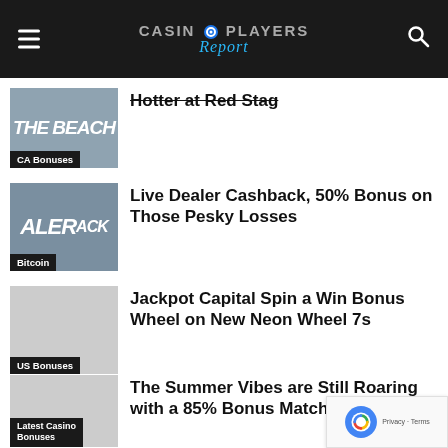Casino Players Report
Hotter at Red Stag
Live Dealer Cashback, 50% Bonus on Those Pesky Losses
Jackpot Capital Spin a Win Bonus Wheel on New Neon Wheel 7s
The Summer Vibes are Still Roaring with a 85% Bonus Match
Slots Empire 24/7 Bonus, 100% f $30+, 120% for $75